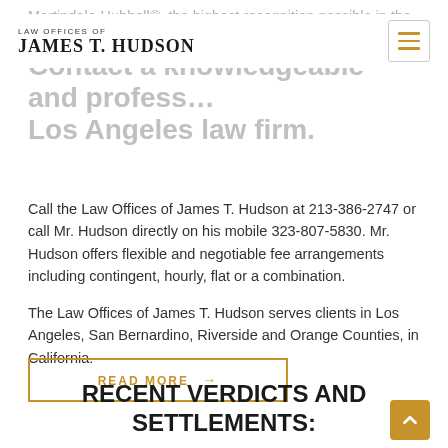Martindale-Hubbell®, the highest recognition possible in the professional and ethical...
LAW OFFICES OF JAMES T. HUDSON
Contact a knowledgeable and professional Los Angeles law firm.
Call the Law Offices of James T. Hudson at 213-386-2747 or call Mr. Hudson directly on his mobile 323-807-5830. Mr. Hudson offers flexible and negotiable fee arrangements including contingent, hourly, flat or a combination.
The Law Offices of James T. Hudson serves clients in Los Angeles, San Bernardino, Riverside and Orange Counties, in California.
READ MORE →
RECENT VERDICTS AND SETTLEMENTS: